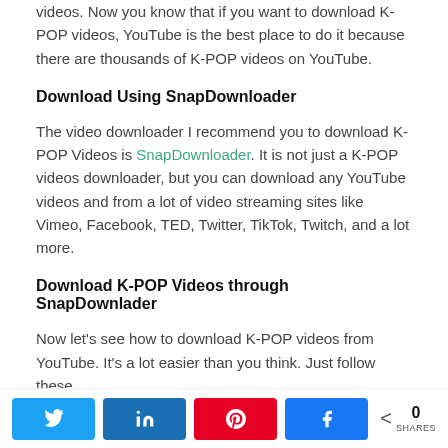videos. Now you know that if you want to download K-POP videos, YouTube is the best place to do it because there are thousands of K-POP videos on YouTube.
Download Using SnapDownloader
The video downloader I recommend you to download K-POP Videos is SnapDownloader. It is not just a K-POP videos downloader, but you can download any YouTube videos and from a lot of video streaming sites like Vimeo, Facebook, TED, Twitter, TikTok, Twitch, and a lot more.
Download K-POP Videos through SnapDownlader
Now let's see how to download K-POP videos from YouTube. It's a lot easier than you think. Just follow these
0 SHARES